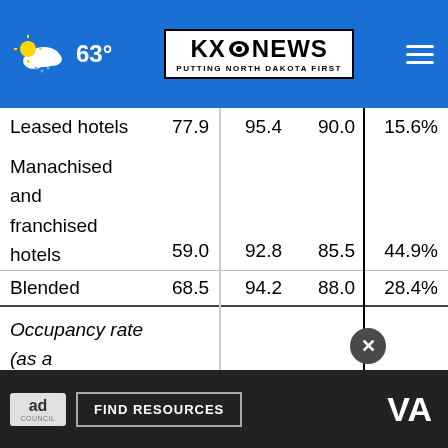[Figure (screenshot): KX News website navigation bar with weather (63°F, partly cloudy), KX News logo, and hamburger menu on blue background]
|  |  |  |  |  |
| --- | --- | --- | --- | --- |
| Leased hotels | 77.9 | 95.4 | 90.0 | 15.6% |
| Manachised and franchised hotels | 59.0 | 92.8 | 85.5 | 44.9% |
| Blended | 68.5 | 94.2 | 88.0 | 28.4% |
| Occupancy rate (as a percentage) |  |  |  |  |
| Lea[sed hotels] |  |  |  | -19.5 p.p. |
[Figure (screenshot): Ad overlay: Ad Council 'Find Resources' VA advertisement banner with close button]